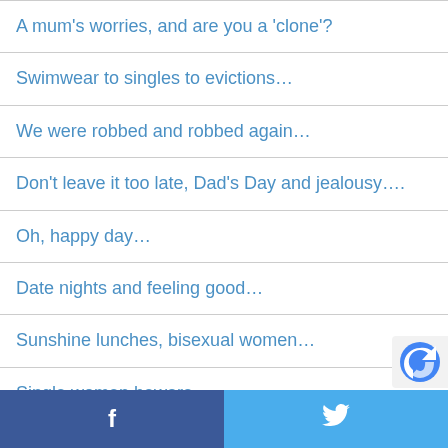A mum's worries, and are you a 'clone'?
Swimwear to singles to evictions…
We were robbed and robbed again…
Don't leave it too late, Dad's Day and jealousy….
Oh, happy day…
Date nights and feeling good…
Sunshine lunches, bisexual women…
Single women beware…
Body image is in the eye of the beholder
Facebook | Twitter share buttons